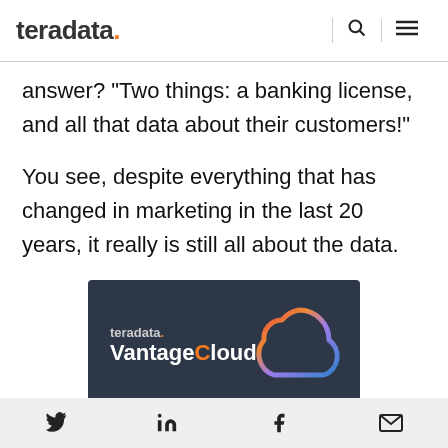teradata. [search icon] [menu icon]
answer? “Two things: a banking license, and all that data about their customers!”
You see, despite everything that has changed in marketing in the last 20 years, it really is still all about the data.
[Figure (logo): Teradata VantageCloud promotional banner on dark background with cloud outline graphic in rainbow gradient and text 'teradata. VantageCloud']
Twitter | LinkedIn | Facebook | Email social share icons